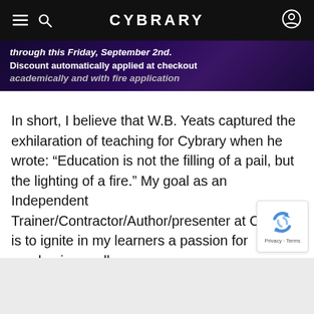CYBRARY
through this Friday, September 2nd.
Discount automatically applied at checkout
academically and with fire application
In short, I believe that W.B. Yeats captured the exhilaration of teaching for Cybrary when he wrote: “Education is not the filling of a pail, but the lighting of a fire.” My goal as an Independent Trainer/Contractor/Author/presenter at Cybrary is to ignite in my learners a passion for academic excellence.